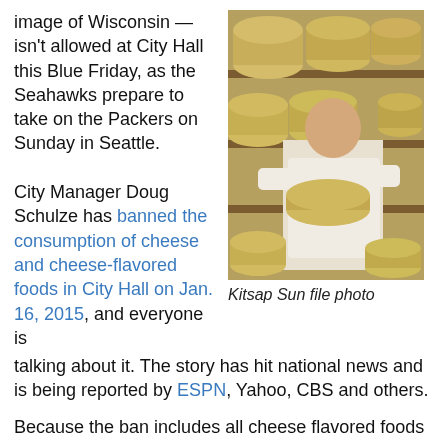image of Wisconsin — isn't allowed at City Hall this Blue Friday, as the Seahawks prepare to take on the Packers on Sunday in Seattle.
[Figure (photo): A man in a white shirt handling large round wheels of cheese stacked on shelves in a cheese cellar or warehouse.]
Kitsap Sun file photo
City Manager Doug Schulze has banned the consumption of cheese and cheese-flavored foods in City Hall on Jan. 16, 2015, and everyone is talking about it. The story has hit national news and is being reported by ESPN, Yahoo, CBS and others.
Because the ban includes all cheese flavored foods